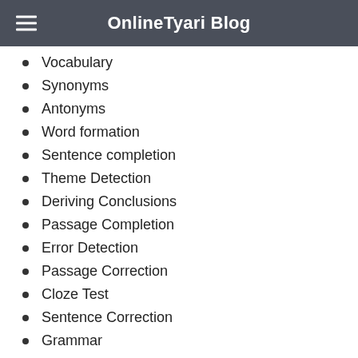OnlineTyari Blog
Vocabulary
Synonyms
Antonyms
Word formation
Sentence completion
Theme Detection
Deriving Conclusions
Passage Completion
Error Detection
Passage Correction
Cloze Test
Sentence Correction
Grammar
Idioms
Phrases